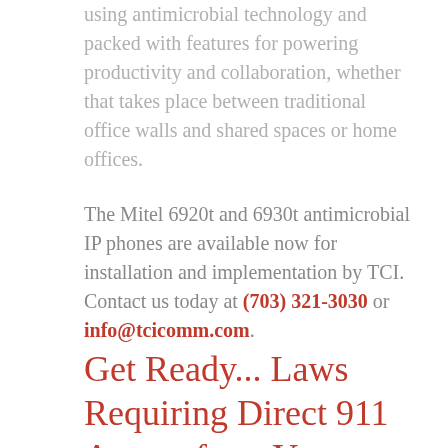using antimicrobial technology and packed with features for powering productivity and collaboration, whether that takes place between traditional office walls and shared spaces or home offices.
The Mitel 6920t and 6930t antimicrobial IP phones are available now for installation and implementation by TCI. Contact us today at (703) 321-3030 or info@tcicomm.com.
Get Ready... Laws Requiring Direct 911 Access from Your Office Phones Go into Effect